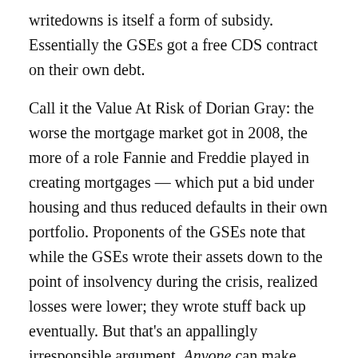writedowns is itself a form of subsidy. Essentially the GSEs got a free CDS contract on their own debt.
Call it the Value At Risk of Dorian Gray: the worse the mortgage market got in 2008, the more of a role Fannie and Freddie played in creating mortgages — which put a bid under housing and thus reduced defaults in their own portfolio. Proponents of the GSEs note that while the GSEs wrote their assets down to the point of insolvency during the crisis, realized losses were lower; they wrote stuff back up eventually. But that's an appallingly irresponsible argument. Anyone can make money on levered bets if the loans never get called in. Here's a surefire strategy: lever up 20 to 1 in equity index futures. When you get a margin call, let it go to voicemail. Historically, stocks have always gone up eventually, and with 2,000% leverage you can make a lot